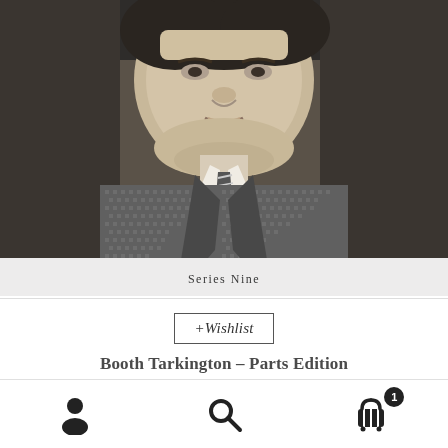[Figure (photo): Black and white portrait photograph of Booth Tarkington, a man in a houndstooth jacket and striped tie, cropped to show face and upper torso. Below the photo is a light gray banner reading 'Series Nine'.]
+Wishlist
Booth Tarkington – Parts Edition
$ 4.99 – $ 5.99
Select options